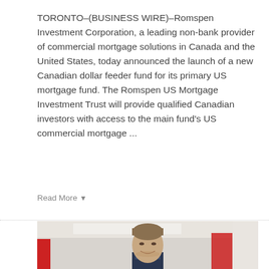TORONTO–(BUSINESS WIRE)–Romspen Investment Corporation, a leading non-bank provider of commercial mortgage solutions in Canada and the United States, today announced the launch of a new Canadian dollar feeder fund for its primary US mortgage fund. The Romspen US Mortgage Investment Trust will provide qualified Canadian investors with access to the main fund's US commercial mortgage ...
Read More
[Figure (photo): Professional headshot of a middle-aged man with short brown hair wearing a dark suit, smiling, with a modern office background featuring red and white architectural elements.]